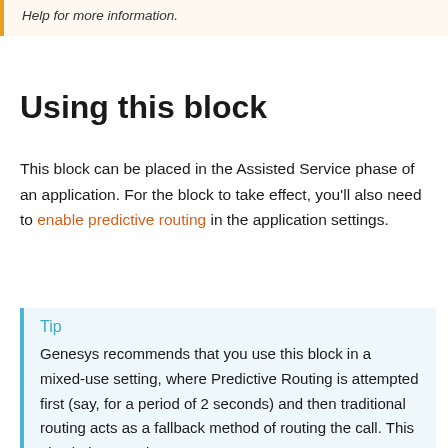Help for more information.
Using this block
This block can be placed in the Assisted Service phase of an application. For the block to take effect, you'll also need to enable predictive routing in the application settings.
Tip
Genesys recommends that you use this block in a mixed-use setting, where Predictive Routing is attempted first (say, for a period of 2 seconds) and then traditional routing acts as a fallback method of routing the call. This also helps to train